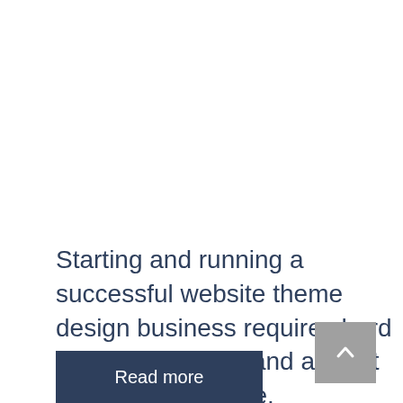Starting and running a successful website theme design business requires hard work, dedication, and a great deal of persistence.
Read more